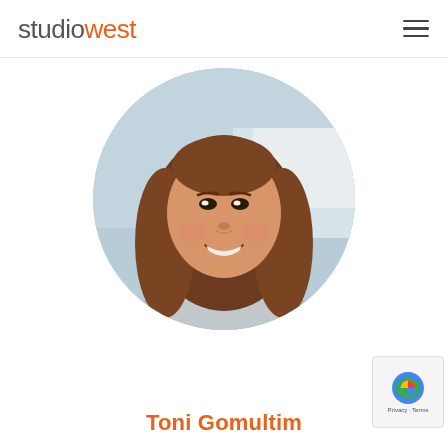studiowest
[Figure (photo): Circular profile photo of a woman (Toni Gomultim) with long brown hair, smiling, wearing a grey top and gold necklace with a heart pendant, against a soft blurred blue/grey background.]
Toni Gomultim